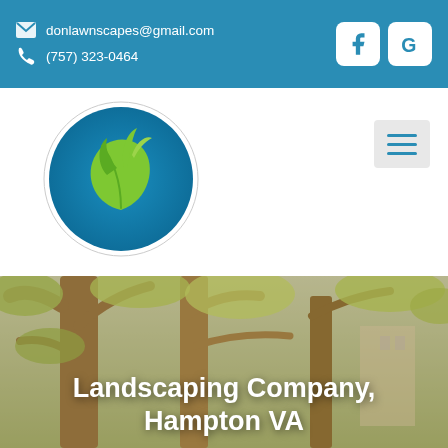donlawnscapes@gmail.com | (757) 323-0464
[Figure (photo): Photo of trees with branches and foliage, serving as hero background image with golden/tan overlay]
Landscaping Company, Hampton VA